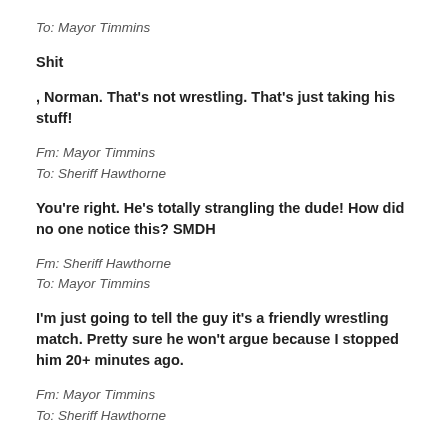To: Mayor Timmins
Shit
, Norman. That's not wrestling. That's just taking his stuff!
Fm: Mayor Timmins
To: Sheriff Hawthorne
You're right. He's totally strangling the dude! How did no one notice this? SMDH
Fm: Sheriff Hawthorne
To: Mayor Timmins
I'm just going to tell the guy it's a friendly wrestling match. Pretty sure he won't argue because I stopped him 20+ minutes ago.
Fm: Mayor Timmins
To: Sheriff Hawthorne